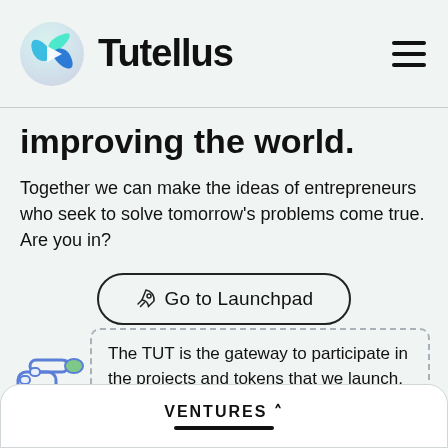Tutellus
improving the world.
Together we can make the ideas of entrepreneurs who seek to solve tomorrow's problems come true. Are you in?
[Figure (other): Go to Launchpad button with rocket emoji]
[Figure (other): Dashed card with text: The TUT is the gateway to participate in the projects and tokens that we launch, through Staking and Farming, with a pointing hand illustration]
VENTURES ^